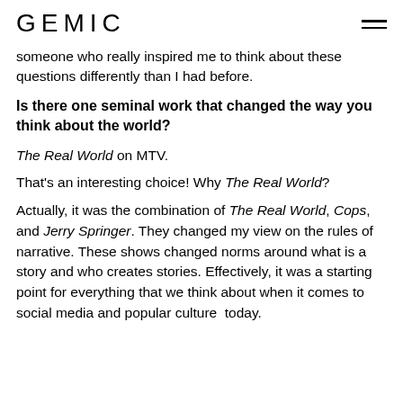GEMIC
someone who really inspired me to think about these questions differently than I had before.
Is there one seminal work that changed the way you think about the world?
The Real World on MTV.
That’s an interesting choice! Why The Real World?
Actually, it was the combination of The Real World, Cops, and Jerry Springer. They changed my view on the rules of narrative. These shows changed norms around what is a story and who creates stories. Effectively, it was a starting point for everything that we think about when it comes to social media and popular culture today.